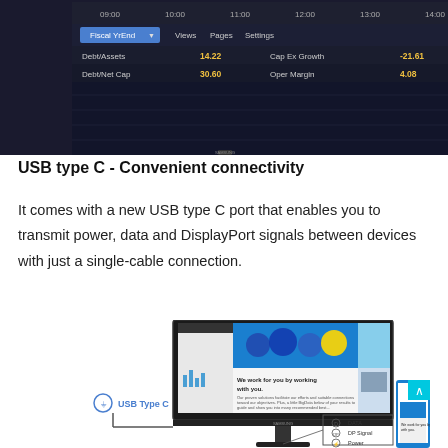[Figure (screenshot): Samsung monitor displaying financial data with Bloomberg-style interface showing Fiscal YrEnd, Debt/Assets, Cap Ex Growth, ROC and other financial metrics. Right side shows stock tickers with values 188 and 586.]
USB type C - Convenient connectivity
It comes with a new USB type C port that enables you to transmit power, data and DisplayPort signals between devices with just a single-cable connection.
[Figure (engineering-diagram): Samsung monitor with USB Type C connectivity diagram showing a monitor labeled Samsung displaying a webpage with 'We work for you by working with you.' Connected via USB Type C cable to a device on the right, with a box diagram showing DATA, DP Signal, and Power connections between the monitor and connected device.]